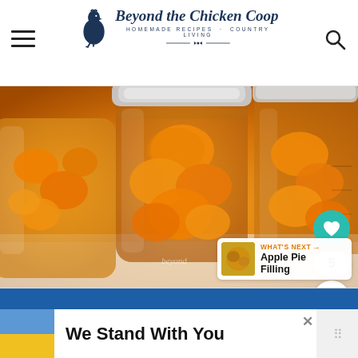Beyond the Chicken Coop — Homemade Recipes · Country Living
[Figure (photo): Close-up photo of three mason jars filled with canned carrots in orange brine on a white marble surface. The jars have silver metal lids. A teal heart-shaped save button, a count badge showing 5, and a share button are overlaid on the right side. A watermark reads 'beyond'. A 'What's Next: Apple Pie Filling' card appears in the bottom right corner.]
[Figure (photo): Advertisement banner: blue top bar, flag with blue and yellow halves on left, bold text 'We Stand With You', close button X, and small grid logo on right.]